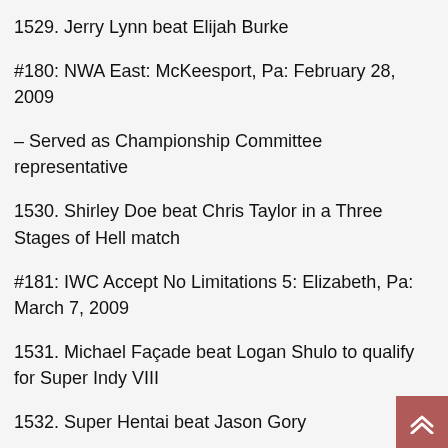1529. Jerry Lynn beat Elijah Burke
#180: NWA East: McKeesport, Pa: February 28, 2009
– Served as Championship Committee representative
1530. Shirley Doe beat Chris Taylor in a Three Stages of Hell match
#181: IWC Accept No Limitations 5: Elizabeth, Pa: March 7, 2009
1531. Michael Façade beat Logan Shulo to qualify for Super Indy VIII
1532. Super Hentai beat Jason Gory